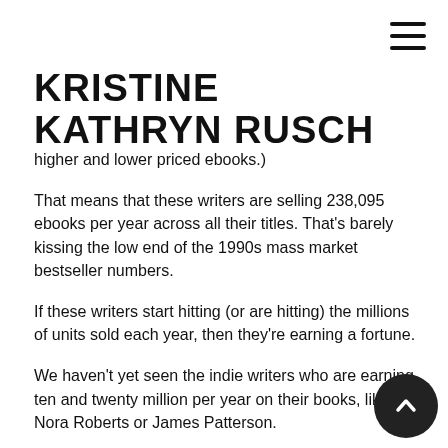≡
KRISTINE KATHRYN RUSCH
higher and lower priced ebooks.)
That means that these writers are selling 238,095 ebooks per year across all their titles. That's barely kissing the low end of the 1990s mass market bestseller numbers.
If these writers start hitting (or are hitting) the millions of units sold each year, then they're earning a fortune.
We haven't yet seen the indie writers who are earning ten and twenty million per year on their books, like Nora Roberts or James Patterson.